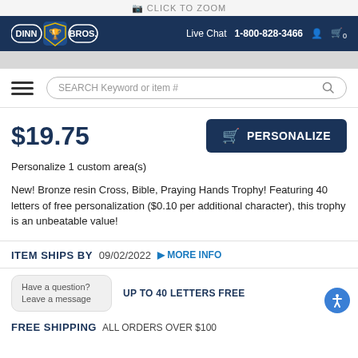CLICK TO ZOOM
DINN BROS. | Live Chat | 1-800-828-3466
[Figure (screenshot): Dinn Bros. logo with trophy icon in blue and gold]
SEARCH Keyword or item #
$19.75
PERSONALIZE
Personalize 1 custom area(s)
New! Bronze resin Cross, Bible, Praying Hands Trophy! Featuring 40 letters of free personalization ($0.10 per additional character), this trophy is an unbeatable value!
ITEM SHIPS BY   09/02/2022   ▶ MORE INFO
Have a question?
Leave a message
UP TO 40 LETTERS FREE
FREE SHIPPING   ALL ORDERS OVER $100